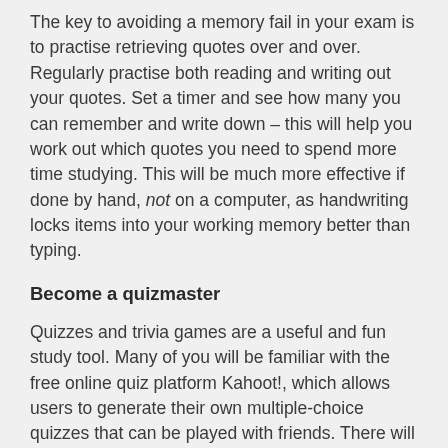The key to avoiding a memory fail in your exam is to practise retrieving quotes over and over. Regularly practise both reading and writing out your quotes. Set a timer and see how many you can remember and write down – this will help you work out which quotes you need to spend more time studying. This will be much more effective if done by hand, not on a computer, as handwriting locks items into your working memory better than typing.
Become a quizmaster
Quizzes and trivia games are a useful and fun study tool. Many of you will be familiar with the free online quiz platform Kahoot!, which allows users to generate their own multiple-choice quizzes that can be played with friends. There will be plenty of kahoots already available on most of the texts on the VCE English text list, but you can also create your own that are specifically designed to help you